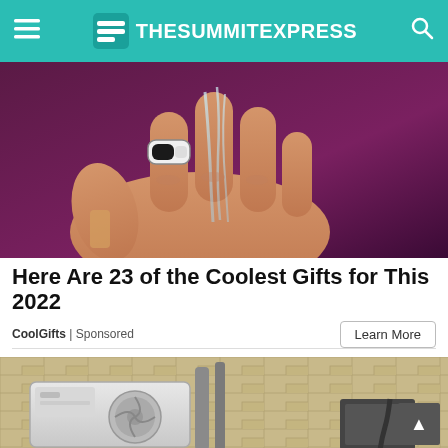TheSummitExpress
[Figure (photo): Close-up photo of a hand with a smart ring device, with water flowing over the fingers. Purple/dark background.]
Here Are 23 of the Coolest Gifts for This 2022
CoolGifts | Sponsored
[Figure (photo): Photo of an air conditioning unit mounted on a brick wall with pipes and electrical connections visible.]